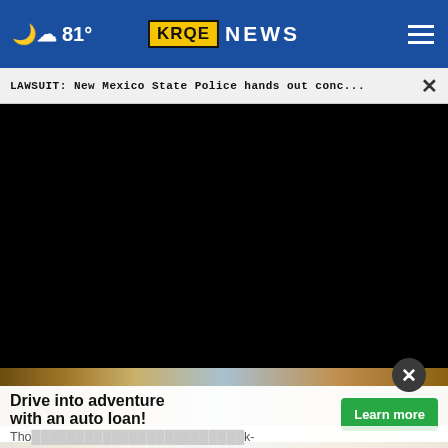81° KRQE NEWS
LAWSUIT: New Mexico State Police hands out conc...
[Figure (screenshot): Black video player screen showing a paused video with progress bar at 00:00 and playback controls including play button, mute button, timestamp, captions, and fullscreen icons]
[Figure (photo): Partial background photo showing sandy desert ground and blue object]
Drive into adventure with an auto loan!
Learn more
Insured by NCUA | Equal Opportunity Lender
Tho... k-